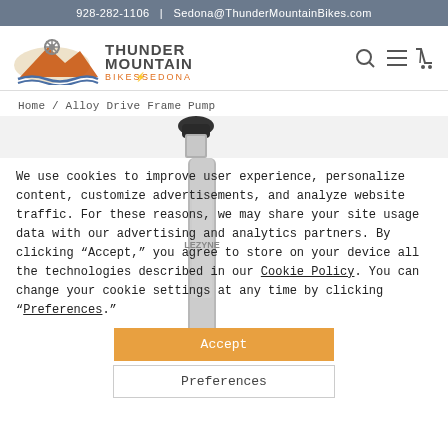928-282-1106  |  Sedona@ThunderMountainBikes.com
[Figure (logo): Thunder Mountain Bikes Sedona logo with mountain/wave graphic and search, menu, cart icons]
Home / Alloy Drive Frame Pump
[Figure (photo): Alloy Drive Frame Pump product photo - silver cylindrical pump with black top]
We use cookies to improve user experience, personalize content, customize advertisements, and analyze website traffic. For these reasons, we may share your site usage data with our advertising and analytics partners. By clicking "Accept," you agree to store on your device all the technologies described in our Cookie Policy. You can change your cookie settings at any time by clicking "Preferences."
Accept
Preferences